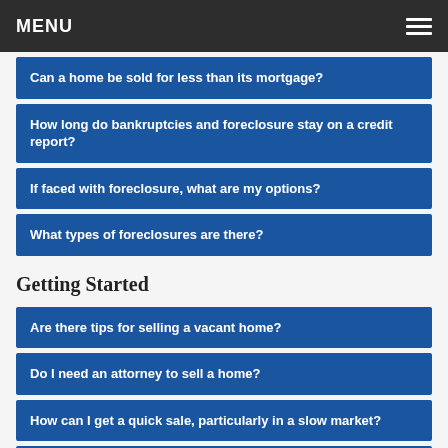MENU
Can a home be sold for less than its mortgage?
How long do bankruptcies and foreclosure stay on a credit report?
If faced with foreclosure, what are my options?
What types of foreclosures are there?
Getting Started
Are there tips for selling a vacant home?
Do I need an attorney to sell a home?
How can I get a quick sale, particularly in a slow market?